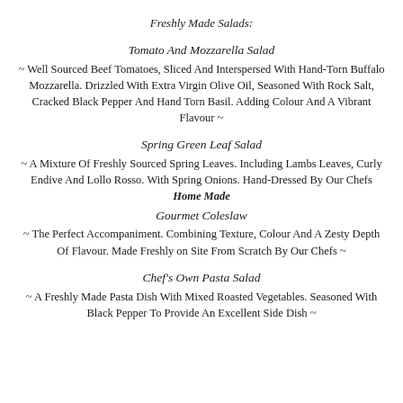Freshly Made Salads:
Tomato And Mozzarella Salad
~ Well Sourced Beef Tomatoes, Sliced And Interspersed With Hand-Torn Buffalo Mozzarella. Drizzled With Extra Virgin Olive Oil, Seasoned With Rock Salt, Cracked Black Pepper And Hand Torn Basil. Adding Colour And A Vibrant Flavour ~
Spring Green Leaf Salad
~ A Mixture Of Freshly Sourced Spring Leaves. Including Lambs Leaves, Curly Endive And Lollo Rosso. With Spring Onions. Hand-Dressed By Our Chefs Home Made
Gourmet Coleslaw
~ The Perfect Accompaniment. Combining Texture, Colour And A Zesty Depth Of Flavour. Made Freshly on Site From Scratch By Our Chefs ~
Chef's Own Pasta Salad
~ A Freshly Made Pasta Dish With Mixed Roasted Vegetables. Seasoned With Black Pepper To Provide An Excellent Side Dish ~